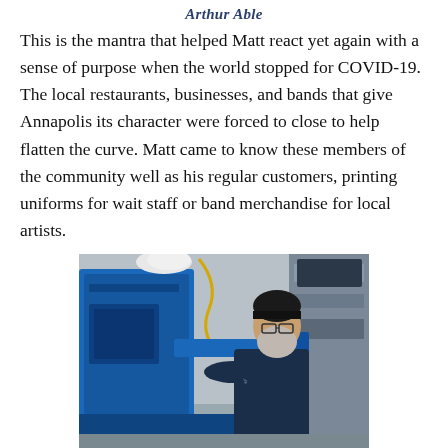Arthur Able
This is the mantra that helped Matt react yet again with a sense of purpose when the world stopped for COVID-19. The local restaurants, businesses, and bands that give Annapolis its character were forced to close to help flatten the curve. Matt came to know these members of the community well as his regular customers, printing uniforms for wait staff or band merchandise for local artists.
[Figure (photo): A bearded man wearing a dark beanie hat and glasses, dressed in a navy blue t-shirt, operating a large blue screen printing machine in what appears to be a print shop.]